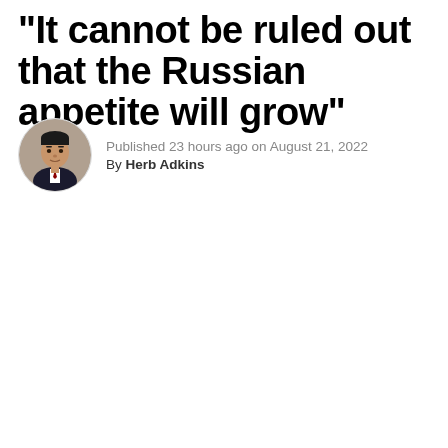“It cannot be ruled out that the Russian appetite will grow”
Published 23 hours ago on August 21, 2022
By Herb Adkins
[Figure (photo): Circular headshot photo of Herb Adkins, a man in a dark suit and tie]